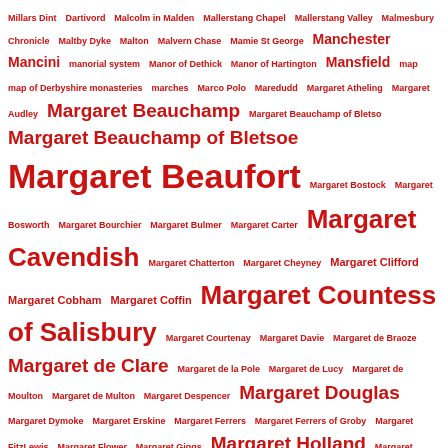Millars Dint Dartivord Malcolm in Malden Mallerstang Chapel Mallerstang Valley Malmesbury Chronicle Maltby Dyke Malton Malvern Chase Mamie St George Manchester Mancini manorial system Manor of Dethick Manor of Hartington Mansfield map map of Derbyshire monasteries marches Marco Polo Maredudd Margaret Atheling Margaret Audley Margaret Beauchamp Margaret Beauchamp of Bletso Margaret Beauchamp of Bletsoe Margaret Beaufort Margaret Bostock Margaret Bosworth Margaret Bourchier Margaret Bulmer Margaret Carter Margaret Cavendish Margaret Chatterton Margaret Cheyney Margaret Clifford Margaret Cobham Margaret Coffin Margaret Countess of Salisbury Margaret Courtenay Margaret Davie Margaret de Braoze Margaret de Clare Margaret de la Pole Margaret de Lucy Margaret de Moulton Margaret de Multon Margaret Despencer Margaret Douglas Margaret Dymoke Margaret Erskine Margaret Ferrers Margaret Ferrers of Groby Margaret FitzLewis Margaret Flower Margaret Giggs Margaret Holland Margaret Home